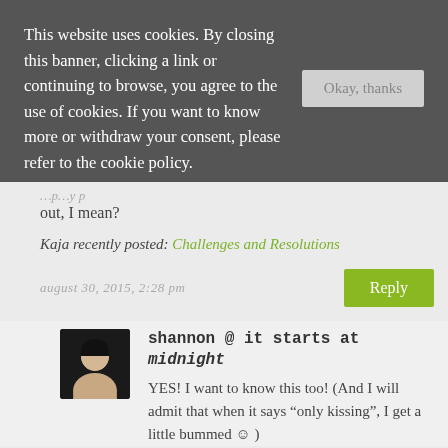This website uses cookies. By closing this banner, clicking a link or continuing to browse, you agree to the use of cookies. If you want to know more or withdraw your consent, please refer to the cookie policy.
out, I mean?
Kaja recently posted: Challenges and Resolutions
august 30, 2015, 2:28 pm
shannon @ it starts at midnight
YES! I want to know this too! (And I will admit that when it says “only kissing”, I get a little bummed ☺ )